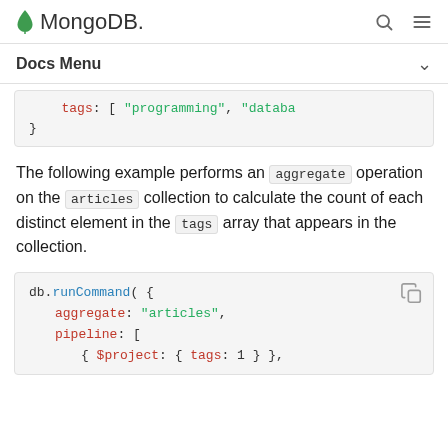MongoDB
Docs Menu
[Figure (screenshot): Code snippet showing: tags: [ "programming", "databa ... }]
The following example performs an aggregate operation on the articles collection to calculate the count of each distinct element in the tags array that appears in the collection.
[Figure (screenshot): Code block: db.runCommand( { aggregate: "articles", pipeline: [ { $project: { tags: 1 } }, ...]